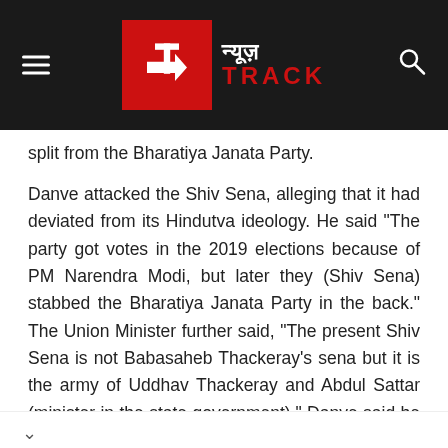[Figure (logo): News Track logo — red square with stylized white 't' arrow icon on left, Hindi text 'न्यूज़' and 'TRACK' in red text on right, all on dark/black header bar with hamburger menu on left and search icon on right]
split from the Bharatiya Janata Party.
Danve attacked the Shiv Sena, alleging that it had deviated from its Hindutva ideology. He said "The party got votes in the 2019 elections because of PM Narendra Modi, but later they (Shiv Sena) stabbed the Bharatiya Janata Party in the back." The Union Minister further said, "The present Shiv Sena is not Babasaheb Thackeray's sena but it is the army of Uddhav Thackeray and Abdul Sattar (minister in the state government)." Danve said he was present in in the wake of a closed-door conversation